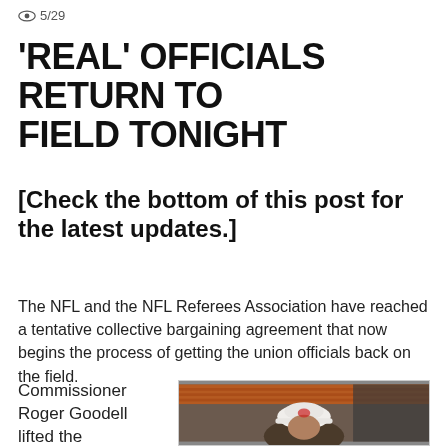5/29
'REAL' OFFICIALS RETURN TO FIELD TONIGHT
[Check the bottom of this post for the latest updates.]
The NFL and the NFL Referees Association have reached a tentative collective bargaining agreement that now begins the process of getting the union officials back on the field.
Commissioner Roger Goodell lifted the
[Figure (photo): Photo of a person wearing a white cap, outdoors with crowd in background]